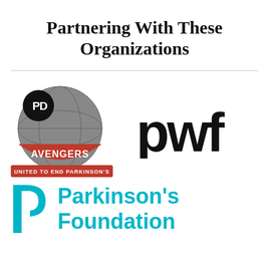Partnering With These Organizations
[Figure (logo): PD Avengers logo — circular globe with 'PD' badge and 'AVENGERS' text, red banner reading 'UNITED TO END PARKINSON'S']
[Figure (logo): pwf logo — bold lowercase black letters 'pwf']
[Figure (logo): Parkinson's Foundation logo — teal 'P' icon with a white arc, next to teal bold text reading 'Parkinson's Foundation']